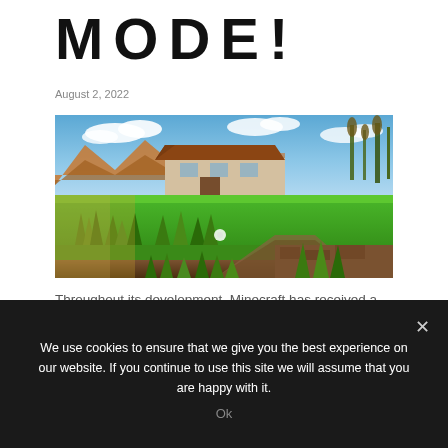MODE!
August 2, 2022
[Figure (photo): A Minecraft-style rendered scene showing a green grassy landscape with blocky terrain, tall grass, a building structure with a tiled roof in the background, mountains, and a blue sky with clouds. The rendering style appears to be a high-quality shader or texture pack applied to Minecraft.]
Throughout its development, Minecraft has received a variety of new gameplay types. Most players will likely
We use cookies to ensure that we give you the best experience on our website. If you continue to use this site we will assume that you are happy with it.
Ok